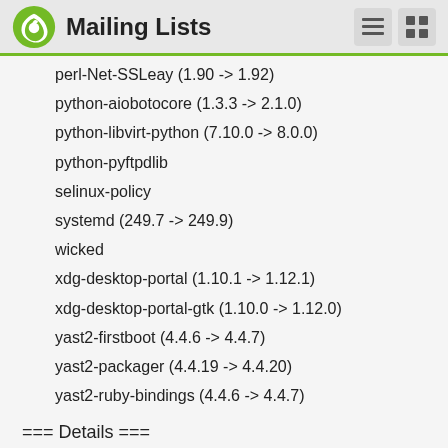Mailing Lists
perl-Net-SSLeay (1.90 -> 1.92)
python-aiobotocore (1.3.3 -> 2.1.0)
python-libvirt-python (7.10.0 -> 8.0.0)
python-pyftpdlib
selinux-policy
systemd (249.7 -> 249.9)
wicked
xdg-desktop-portal (1.10.1 -> 1.12.1)
xdg-desktop-portal-gtk (1.10.0 -> 1.12.0)
yast2-firstboot (4.4.6 -> 4.4.7)
yast2-packager (4.4.19 -> 4.4.20)
yast2-ruby-bindings (4.4.6 -> 4.4.7)
=== Details ===
==== autofs ====
Version update (5.1.7 -> 5.1.8)